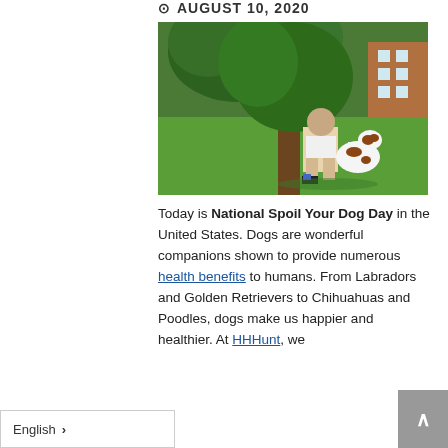AUGUST 10, 2020
[Figure (photo): A young man sitting on green grass under a large tree, next to a brown and white dog. Trees and a brick building are visible in the background.]
Today is National Spoil Your Dog Day in the United States. Dogs are wonderful companions shown to provide numerous health benefits to humans. From Labradors and Golden Retrievers to Chihuahuas and Poodles, dogs make us happier and healthier. At HHHunt, we